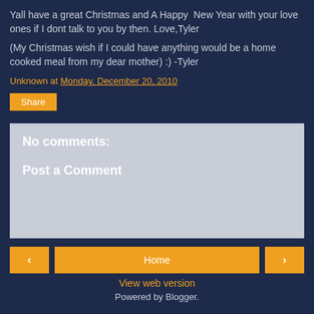Yall have a great Christmas and A Happy  New Year with your love ones if I dont talk to you by then. Love,Tyler
(My Christmas wish if I could have anything would be a home cooked meal from my dear mother) :) -Tyler
Unknown at Monday, December 20, 2010
Share
No comments:
Post a Comment
< Home >
View web version
Powered by Blogger.